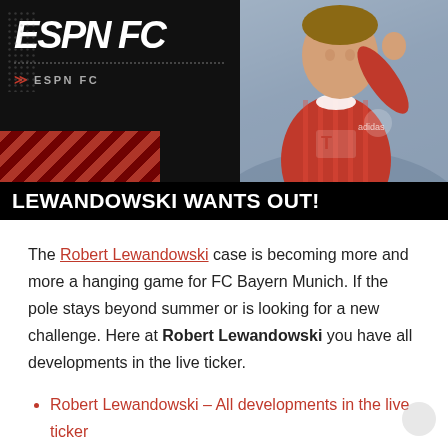[Figure (screenshot): ESPN FC branded image showing Robert Lewandowski in Bayern Munich red jersey waving, with dark background, red diagonal stripes, ESPN FC logo, and headline bar 'LEWANDOWSKI WANTS OUT!']
The Robert Lewandowski case is becoming more and more a hanging game for FC Bayern Munich. If the pole stays beyond summer or is looking for a new challenge. Here at Robert Lewandowski you have all developments in the live ticker.
Robert Lewandowski – All developments in the live ticker